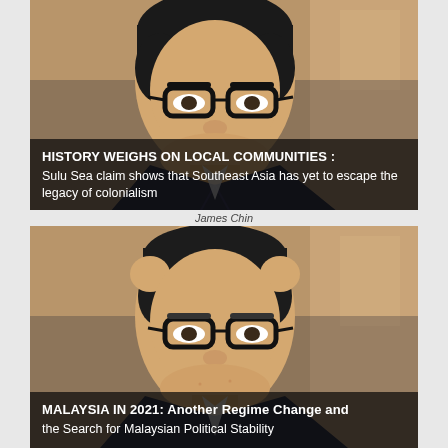[Figure (photo): Photo of James Chin, a man with glasses wearing a dark suit, with a warm brown background. Overlaid text reads: HISTORY WEIGHS ON LOCAL COMMUNITIES : Sulu Sea claim shows that Southeast Asia has yet to escape the legacy of colonialism]
James Chin
[Figure (photo): Second photo of the same person (James Chin), a man with glasses wearing a dark suit, with a warm brown background. Overlaid text reads: MALAYSIA IN 2021: Another Regime Change and the Search for Malaysian Political Stability]